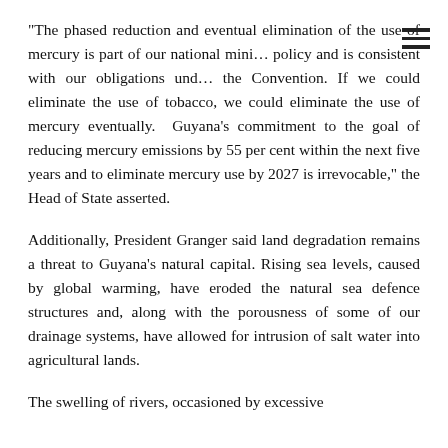“The phased reduction and eventual elimination of the use of mercury is part of our national mining policy and is consistent with our obligations under the Convention. If we could eliminate the use of tobacco, we could eliminate the use of mercury eventually.  Guyana’s commitment to the goal of reducing mercury emissions by 55 per cent within the next five years and to eliminate mercury use by 2027 is irrevocable,” the Head of State asserted.
Additionally, President Granger said land degradation remains a threat to Guyana’s natural capital. Rising sea levels, caused by global warming, have eroded the natural sea defence structures and, along with the porousness of some of our drainage systems, have allowed for intrusion of salt water into agricultural lands.
The swelling of rivers, occasioned by excessive